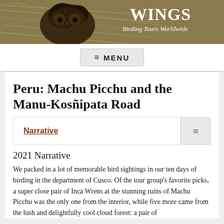[Figure (photo): Header banner image showing a close-up of a bird (likely an owl or similar species) with mottled brown/black plumage against a straw-like background. WINGS Birding Tours Worldwide logo text overlaid on the right side.]
≡ MENU
Peru: Machu Picchu and the Manu-Kosñipata Road
Narrative
2021 Narrative
We packed in a lot of memorable bird sightings in our ten days of birding in the department of Cusco. Of the tour group's favorite picks, a super close pair of Inca Wrens at the stunning ruins of Machu Picchu was the only one from the interior, while five more came from the lush and delightfully cool cloud forest: a pair of